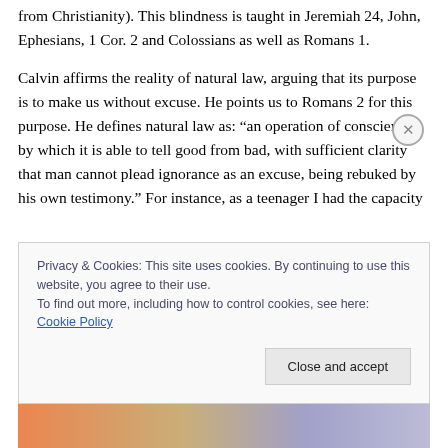from Christianity). This blindness is taught in Jeremiah 24, John, Ephesians, 1 Cor. 2 and Colossians as well as Romans 1.
Calvin affirms the reality of natural law, arguing that its purpose is to make us without excuse. He points us to Romans 2 for this purpose. He defines natural law as: “an operation of conscience by which it is able to tell good from bad, with sufficient clarity that man cannot plead ignorance as an excuse, being rebuked by his own testimony.” For instance, as a teenager I had the capacity
Privacy & Cookies: This site uses cookies. By continuing to use this website, you agree to their use.
To find out more, including how to control cookies, see here: Cookie Policy